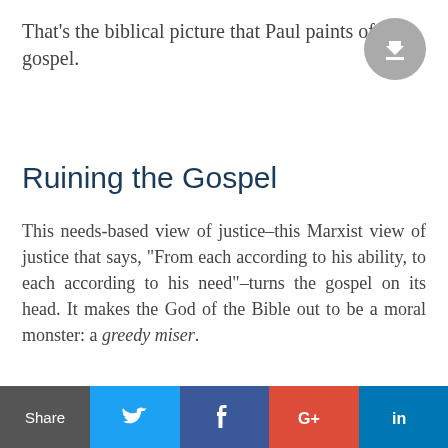That’s the biblical picture that Paul paints of the gospel.
Ruining the Gospel
This needs-based view of justice–this Marxist view of justice that says, “From each according to his ability, to each according to his need”–turns the gospel on its head. It makes the God of the Bible out to be a moral monster: a greedy miser.
[Figure (infographic): Social share bar with Share label and Twitter, Facebook, Google+, LinkedIn icons]